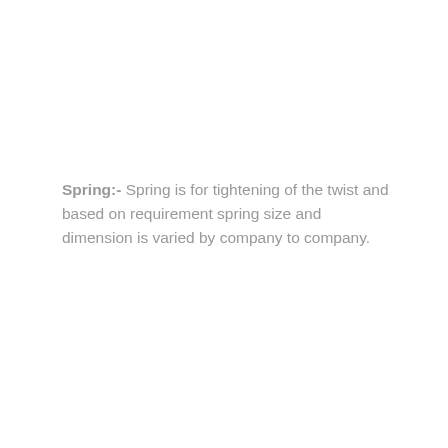Spring:- Spring is for tightening of the twist and based on requirement spring size and dimension is varied by company to company.